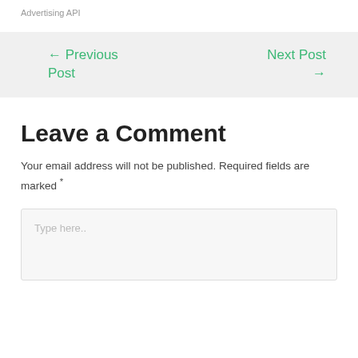Advertising API
← Previous Post
Next Post →
Leave a Comment
Your email address will not be published. Required fields are marked *
Type here..